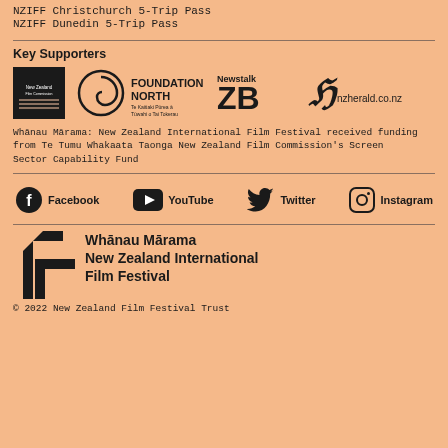NZIFF Christchurch 5-Trip Pass
NZIFF Dunedin 5-Trip Pass
Key Supporters
[Figure (logo): Logos of key supporters: New Zealand Film Commission, Foundation North, Newstalk ZB, NZ Herald]
Whānau Mārama: New Zealand International Film Festival received funding from Te Tumu Whakaata Taonga New Zealand Film Commission's Screen Sector Capability Fund
[Figure (infographic): Social media icons and labels: Facebook, YouTube, Twitter, Instagram]
[Figure (logo): Whānau Mārama New Zealand International Film Festival logo]
© 2022 New Zealand Film Festival Trust